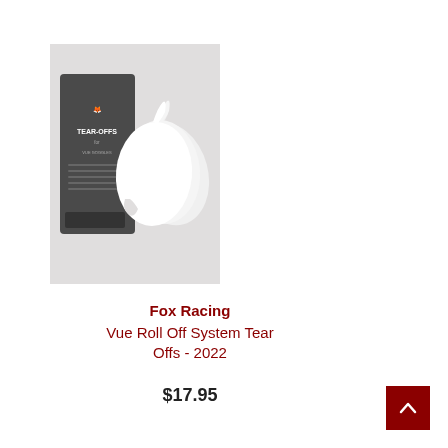[Figure (photo): Fox Racing Vue Roll Off System Tear Offs product photo showing packaging and clear tear-off lenses fanned out]
Fox Racing
Vue Roll Off System Tear Offs - 2022
$17.95